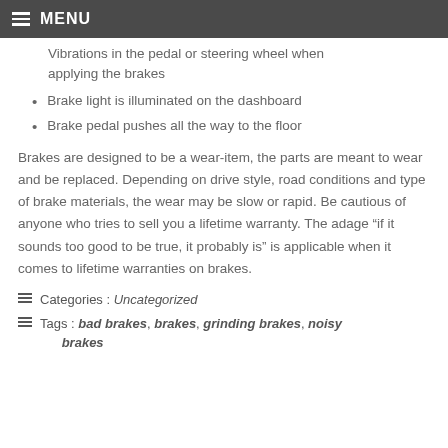MENU
Vibrations in the pedal or steering wheel when applying the brakes
Brake light is illuminated on the dashboard
Brake pedal pushes all the way to the floor
Brakes are designed to be a wear-item, the parts are meant to wear and be replaced. Depending on drive style, road conditions and type of brake materials, the wear may be slow or rapid. Be cautious of anyone who tries to sell you a lifetime warranty. The adage “if it sounds too good to be true, it probably is” is applicable when it comes to lifetime warranties on brakes.
Categories : Uncategorized
Tags : bad brakes, brakes, grinding brakes, noisy brakes